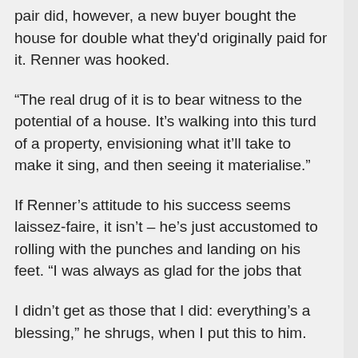pair did, however, a new buyer bought the house for double what they'd originally paid for it. Renner was hooked.
“The real drug of it is to bear witness to the potential of a house. It’s walking into this turd of a property, envisioning what it’ll take to make it sing, and then seeing it materialise.”
If Renner’s attitude to his success seems laissez-faire, it isn’t – he’s just accustomed to rolling with the punches and landing on his feet. “I was always as glad for the jobs that
I didn’t get as those that I did: everything’s a blessing,” he shrugs, when I put this to him.
It seems an appropriate moment in our conversation to move onto The Hurt Locker, the film that undoubtedly pointed his career skyward. Directed by